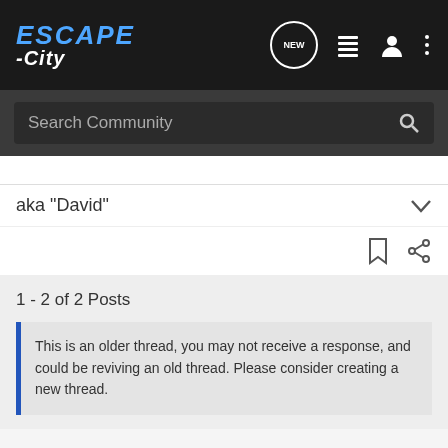[Figure (logo): Escape-City logo in top navigation bar, blue italic ESCAPE text with white -City below]
Search Community
aka "David"
1 - 2 of 2 Posts
This is an older thread, you may not receive a response, and could be reviving an old thread. Please consider creating a new thread.
Join the discussion